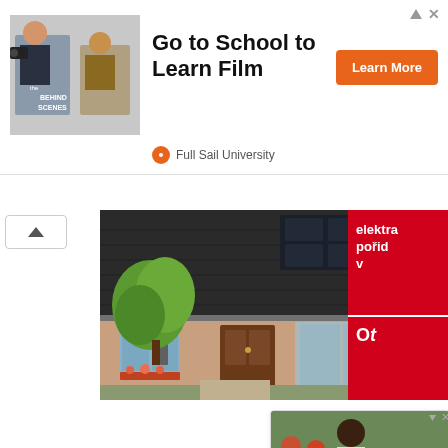[Figure (screenshot): Top advertisement banner: Full Sail University 'Go to School to Learn Film' with Learn More button and a behind-the-scenes photo on the left.]
[Figure (photo): Aerial view of a residential house with solar panels on roof, surrounded by greenery. Partially overlaid on the right by a red panel with Czech text 'elektra' and 'pořid' visible.]
[Figure (screenshot): Bottom advertisement: 'We Care - Providing Services for Disabled Children In Need. Begin the Application' with a photo of children and a baby cow.]